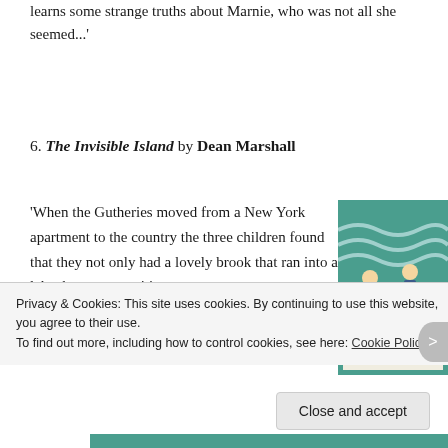learns some strange truths about Marnie, who was not all she seemed...'
6. The Invisible Island by Dean Marshall
'When the Gutheries moved from a New York apartment to the country the three children found that they not only had a lovely brook that ran into a lake, but more exciting yet,
[Figure (illustration): Book cover of 'The Invisible Island' showing two children on a snowy surface, teal/green background with the title text 'THE INVISIBLE' visible]
Privacy & Cookies: This site uses cookies. By continuing to use this website, you agree to their use.
To find out more, including how to control cookies, see here: Cookie Policy
Close and accept